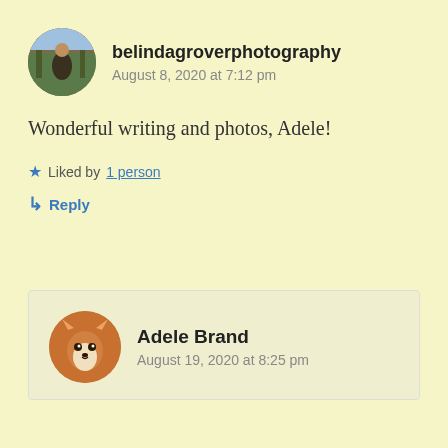[Figure (photo): Circular avatar photo of belindagroverphotography user, showing a person outdoors in a forest/nature setting]
belindagroverphotography
August 8, 2020 at 7:12 pm
Wonderful writing and photos, Adele!
★ Liked by 1 person
↳ Reply
[Figure (photo): Circular avatar photo of Adele Brand, showing a fox]
Adele Brand
August 19, 2020 at 8:25 pm